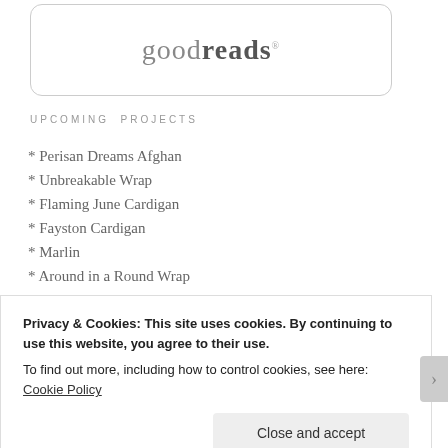[Figure (logo): Goodreads logo in a rounded rectangle box]
UPCOMING PROJECTS
* Perisan Dreams Afghan
* Unbreakable Wrap
* Flaming June Cardigan
* Fayston Cardigan
* Marlin
* Around in a Round Wrap
* T-Rex and Bronty
* Socks, socks, & more socks!
Privacy & Cookies: This site uses cookies. By continuing to use this website, you agree to their use. To find out more, including how to control cookies, see here: Cookie Policy
Close and accept